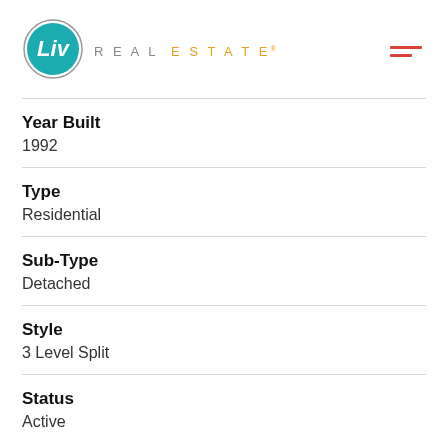[Figure (logo): Liv Real Estate logo with teal circle containing 'Liv' in white text, followed by 'REAL ESTATE' in grey and gold lettering]
Year Built
1992
Type
Residential
Sub-Type
Detached
Style
3 Level Split
Status
Active